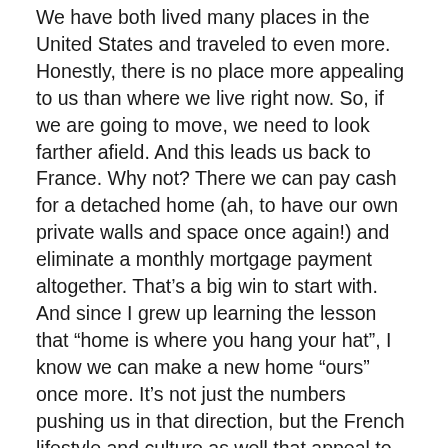We have both lived many places in the United States and traveled to even more. Honestly, there is no place more appealing to us than where we live right now. So, if we are going to move, we need to look farther afield. And this leads us back to France. Why not? There we can pay cash for a detached home (ah, to have our own private walls and space once again!) and eliminate a monthly mortgage payment altogether. That’s a big win to start with. And since I grew up learning the lesson that “home is where you hang your hat”, I know we can make a new home “ours” once more. It’s not just the numbers pushing us in that direction, but the French lifestyle and culture as well that appeal to us so much. I’m certain there will always be things we will miss and other things that will drive us crazy, but we think the trade-off for financial peace of mind and a simpler life will be well worth it.